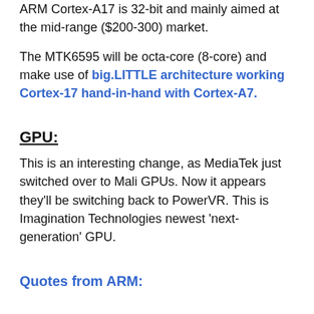ARM Cortex-A17 is 32-bit and mainly aimed at the mid-range ($200-300) market.
The MTK6595 will be octa-core (8-core) and make use of big.LITTLE architecture working Cortex-17 hand-in-hand with Cortex-A7.
GPU:
This is an interesting change, as MediaTek just switched over to Mali GPUs. Now it appears they'll be switching back to PowerVR. This is Imagination Technologies newest 'next-generation' GPU.
Quotes from ARM: